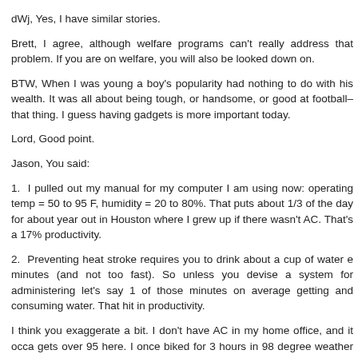dWj, Yes, I have similar stories.
Brett, I agree, although welfare programs can't really address that problem. If you are on welfare, you will also be looked down on.
BTW, When I was young a boy's popularity had nothing to do with his wealth. It was all about being tough, or handsome, or good at football–that thing. I guess having gadgets is more important today.
Lord, Good point.
Jason, You said:
1. I pulled out my manual for my computer I am using now: operating temp = 50 to 95 F, humidity = 20 to 80%. That puts about 1/3 of the day for about year out in Houston where I grew up if there wasn't AC. That's a 17% productivity.
2. Preventing heat stroke requires you to drink about a cup of water e minutes (and not too fast). So unless you devise a system for administering let's say 1 of those minutes on average getting and consuming water. That hit in productivity.
I think you exaggerate a bit. I don't have AC in my home office, and it occa gets over 95 here. I once biked for 3 hours in 98 degree weather with no wa I wouldn't recommend it.) I accept your point that AC is very helpful in the But it's no necessity.
BTW, the post said South and West. Is AC a necessity in California? I do so. I wouldn't want it if I lived there.